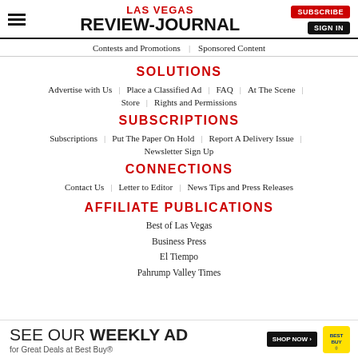LAS VEGAS REVIEW-JOURNAL | SUBSCRIBE | SIGN IN
Contests and Promotions | Sponsored Content
SOLUTIONS
Advertise with Us | Place a Classified Ad | FAQ | At The Scene
Store | Rights and Permissions
SUBSCRIPTIONS
Subscriptions | Put The Paper On Hold | Report A Delivery Issue
Newsletter Sign Up
CONNECTIONS
Contact Us | Letter to Editor | News Tips and Press Releases
AFFILIATE PUBLICATIONS
Best of Las Vegas
Business Press
El Tiempo
Pahrump Valley Times
[Figure (infographic): Best Buy advertisement banner: SEE OUR WEEKLY AD for Great Deals at Best Buy® with SHOP NOW button and Best Buy logo]